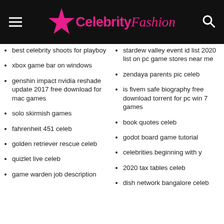Celebrity Fashion
best celebrity shoots for playboy
stardew valley event id list 2020 list on pc game stores near me
xbox game bar on windows
zendaya parents pic celeb
genshin impact nvidia reshade update 2017 free download for mac games
is fivem safe biography free download torrent for pc win 7 games
solo skirmish games
book quotes celeb
fahrenheit 451 celeb
godot board game tutorial
golden retriever rescue celeb
celebrities beginning with y
quizlet live celeb
2020 tax tables celeb
game warden job description
dish network bangalore celeb